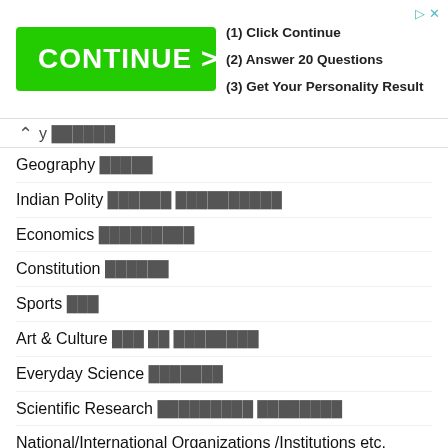[Figure (other): Advertisement banner with green CONTINUE > button and steps: (1) Click Continue, (2) Answer 20 Questions, (3) Get Your Personality Result]
y ██████
Geography █████
Indian Polity ██████ ██████████
Economics █████████
Constitution ██████
Sports ███
Art & Culture ███ ██ ████████
Everyday Science ███████
Scientific Research █████████ ████████
National/International Organizations /Institutions etc. █████████ / ███████████████ █████ / ████████ ████
[Figure (other): WhatsApp icon with badge showing 1]
UPPCL Accountant Recruitment 2022
Get DSSSB Junior Clerk Syllabus 2022 Pdf